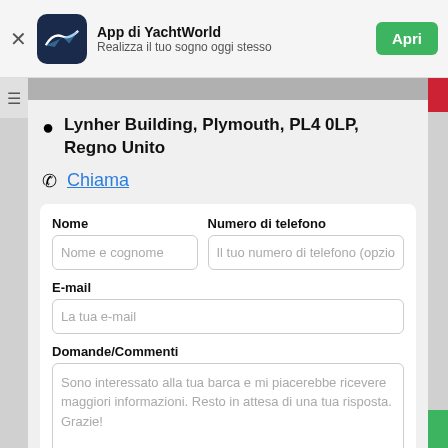App di YachtWorld — Realizza il tuo sogno oggi stesso — Apri
Lynher Building, Plymouth, PL4 0LP, Regno Unito
Chiama
Nome
Nome e cognome
Numero di telefono
Il tuo numero di telefono (opzio
E-mail
La tua e-mail
Domande/Commenti
Sono interessato alla tua barca e mi piacerebbe ricevere maggiori informazioni. Resto in attesa di una tua risposta. Grazie!
Contatta il venditore